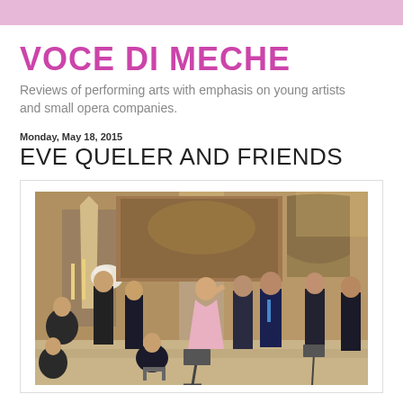VOCE DI MECHE
Reviews of performing arts with emphasis on young artists and small opera companies.
Monday, May 18, 2015
EVE QUELER AND FRIENDS
[Figure (photo): Performance photo inside a church showing a woman in a pink gown on stage with musicians and singers, ornate church interior with altar and stained glass in background]